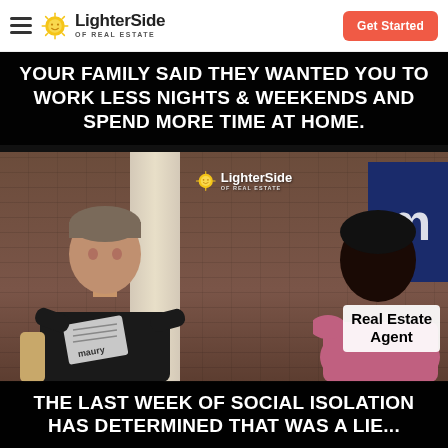LighterSide OF REAL ESTATE | Get Started
[Figure (photo): A meme based on the Maury Povich show. Top black bar text: 'YOUR FAMILY SAID THEY WANTED YOU TO WORK LESS NIGHTS & WEEKENDS AND SPEND MORE TIME AT HOME.' Middle section shows a TV show scene with a man (Maury) reading from a card and a woman labeled 'Real Estate Agent' sitting across from him. LighterSide of Real Estate logo overlaid on the photo. Bottom black bar text: 'THE LAST WEEK OF SOCIAL ISOLATION HAS DETERMINED THAT WAS A LIE...']